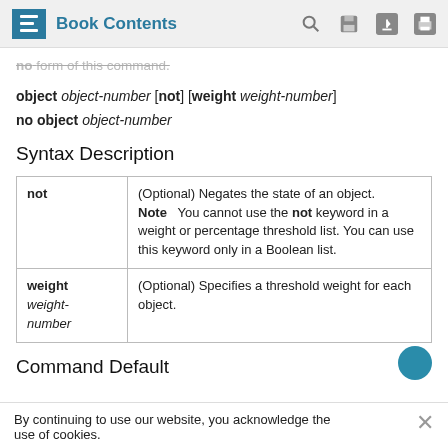Book Contents
no form of this command.
object object-number [not] [weight weight-number]
no object object-number
Syntax Description
|  |  |
| --- | --- |
| not | (Optional) Negates the state of an object.
Note   You cannot use the not keyword in a weight or percentage threshold list. You can use this keyword only in a Boolean list. |
| weight weight-number | (Optional) Specifies a threshold weight for each object. |
Command Default
By continuing to use our website, you acknowledge the use of cookies.